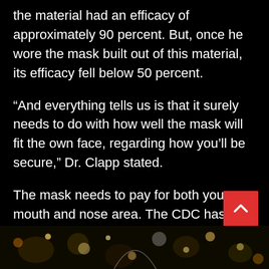the material had an efficacy of approximately 90 percent. But, once he wore the mask built out of this material, its efficacy fell below 50 percent.
“And everything tells us is that it surely needs to do with how well the mask will fit the own face, regarding how you’ll be secure,” Dr. Clapp stated.
The mask needs to pay for both your mouth and nose area. The CDC has released several tutorials on making facemasks, including masks using elastic ear loops in addition to tying strings. In the event you decide to earn a mask using tie strings, then it’s vital to be certain that the straps fit snugly around the top therefore that the mask doesn’t slip.
[Figure (photo): Bottom strip showing bokeh/blurred lights image, partial view of a person or decorative lights in dark setting]